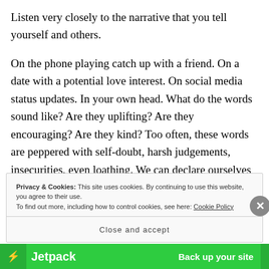Listen very closely to the narrative that you tell yourself and others.
On the phone playing catch up with a friend. On a date with a potential love interest. On social media status updates. In your own head. What do the words sound like? Are they uplifting? Are they encouraging? Are they kind? Too often, these words are peppered with self-doubt, harsh judgements, insecurities, even loathing. We can declare ourselves sick, unsuccessful, unworthy, and unhappy or we can tell ourselves we are well, successful, worthy of
Privacy & Cookies: This site uses cookies. By continuing to use this website, you agree to their use.
To find out more, including how to control cookies, see here: Cookie Policy
Close and accept
[Figure (logo): Jetpack logo and 'Back up your site' banner in green]